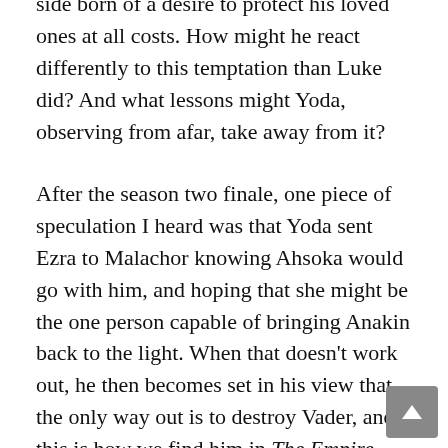side born of a desire to protect his loved ones at all costs. How might he react differently to this temptation than Luke did? And what lessons might Yoda, observing from afar, take away from it?
After the season two finale, one piece of speculation I heard was that Yoda sent Ezra to Malachor knowing Ahsoka would go with him, and hoping that she might be the one person capable of bringing Anakin back to the light. When that doesn't work out, he then becomes set in his view that the only way out is to destroy Vader, and this is how we find him in The Empire Strikes Back. That's an interesting possibility, and it's the way we should be thinking now about Ezra himself—rather than try to extrapolate his future from where we are now, look at where we know we're going and consider how he might help to get us there.